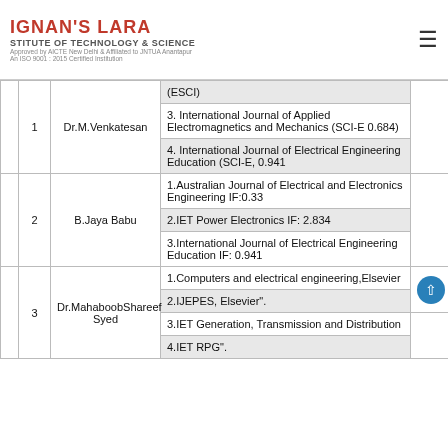IGNAN'S LARA INSTITUTE OF TECHNOLOGY & SCIENCE
|  | # | Name | Journal |
| --- | --- | --- | --- |
|  | 1 | Dr.M.Venkatesan | (ESCI) |
|  | 1 | Dr.M.Venkatesan | 3. International Journal of Applied Electromagnetics and Mechanics (SCI-E 0.684) |
|  | 1 | Dr.M.Venkatesan | 4. International Journal of Electrical Engineering Education (SCI-E, 0.941 |
|  | 2 | B.Jaya Babu | 1.Australian Journal of Electrical and Electronics Engineering IF:0.33 |
|  | 2 | B.Jaya Babu | 2.IET Power Electronics IF: 2.834 |
|  | 2 | B.Jaya Babu | 3.International Journal of Electrical Engineering Education IF: 0.941 |
|  | 3 | Dr.MahaboobShareef Syed | 1.Computers and electrical engineering,Elsevier |
|  | 3 | Dr.MahaboobShareef Syed | 2.IJEPES, Elsevier". |
|  | 3 | Dr.MahaboobShareef Syed | 3.IET Generation, Transmission and Distribution |
|  | 3 | Dr.MahaboobShareef Syed | 4.IET RPG". |